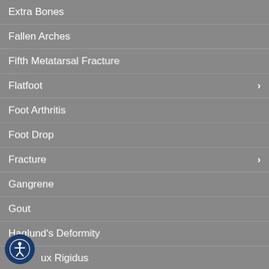Extra Bones
Fallen Arches
Fifth Metatarsal Fracture
Flatfoot
Foot Arthritis
Foot Drop
Fracture
Gangrene
Gout
Haglund's Deformity
Hallux Rigidus